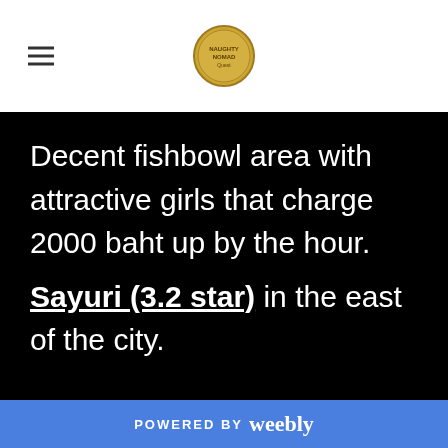[hamburger menu icon] [logo badge]
Decent fishbowl area with attractive girls that charge 2000 baht up by the hour.
Sayuri (3.2 star) in the east of the city.
POWERED BY weebly